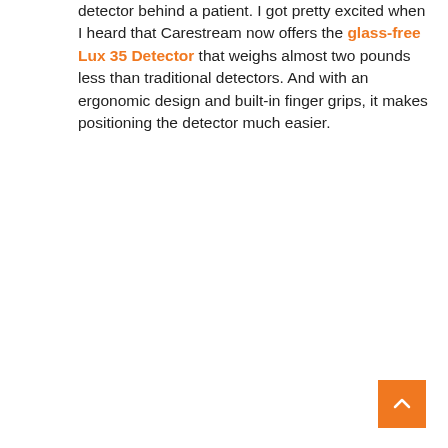detector behind a patient. I got pretty excited when I heard that Carestream now offers the glass-free Lux 35 Detector that weighs almost two pounds less than traditional detectors. And with an ergonomic design and built-in finger grips, it makes positioning the detector much easier.
[Figure (other): Orange back-to-top button with upward chevron arrow in bottom-right corner]